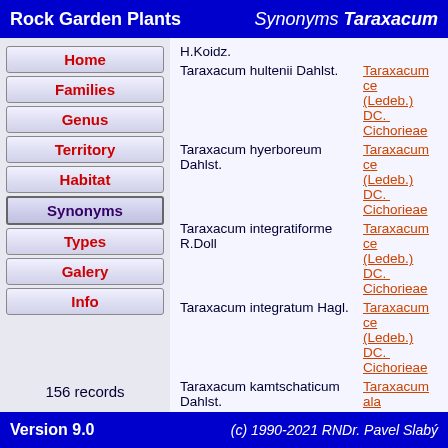Rock Garden Plants    Synonyms Taraxacum
Home
Families
Genus
Territory
Habitat
Synonyms
Types
Galery
Info
156 records
| Synonym | Accepted Name |
| --- | --- |
| H.Koidz. |  |
| Taraxacum hultenii Dahlst. | Taraxacum ce... (Ledeb.) DC. ... Cichorieae |
| Taraxacum hyerboreum Dahlst. | Taraxacum ce... (Ledeb.) DC. ... Cichorieae |
| Taraxacum integratiforme R.Doll | Taraxacum ce... (Ledeb.) DC. ... Cichorieae |
| Taraxacum integratum Hagl. | Taraxacum ce... (Ledeb.) DC. ... Cichorieae |
| Taraxacum kamtschaticum Dahlst. | Taraxacum ala... Rydb. trib. Cic... |
| Taraxacum kawaguchii Kitam. | Taraxacum pa... DC. trib. Cich... |
| Taraxacum kljutschevskoanum Kom. | Taraxacum ce... (Ledeb.) DC. ... Cichorieae |
| Taraxacum koragiense | Taraxacum ce... |
Version 9.0    (c) 1990-2021 RNDr. Pavel Slabý